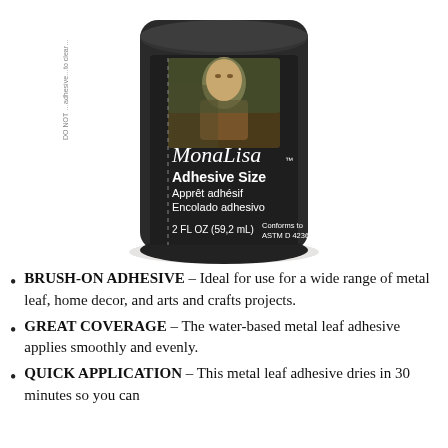[Figure (photo): Photo of a dark/black cylindrical jar of Mona Lisa Speedball Metal Leaf Adhesive Size product. The jar label shows the Mona Lisa painting image and cursive Mona Lisa branding. Text on label: Adhesive Size, Apprêt adhésif, Encolado adhesivo, 2 FL OZ (59,2 mL), Conforms to ASTM D 4236.]
BRUSH-ON ADHESIVE – Ideal for use for a wide range of metal leaf, home decor, and arts and crafts projects.
GREAT COVERAGE – The water-based metal leaf adhesive applies smoothly and evenly.
QUICK APPLICATION – This metal leaf adhesive dries in 30 minutes so you can